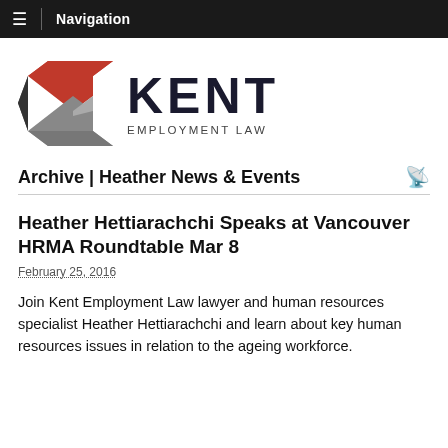Navigation
[Figure (logo): Kent Employment Law logo with red and grey chevron/arrow graphic on the left and bold dark text KENT EMPLOYMENT LAW on the right]
Archive | Heather News & Events
Heather Hettiarachchi Speaks at Vancouver HRMA Roundtable Mar 8
February 25, 2016
Join Kent Employment Law lawyer and human resources specialist Heather Hettiarachchi and learn about key human resources issues in relation to the ageing workforce.